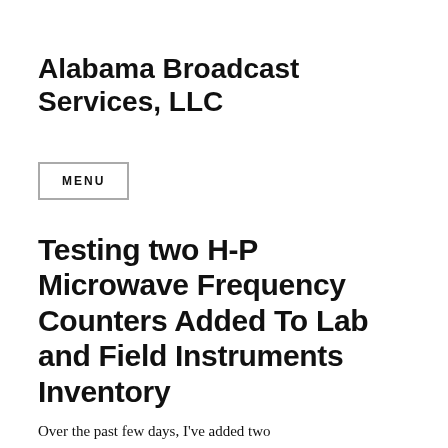Alabama Broadcast Services, LLC
MENU
Testing two H-P Microwave Frequency Counters Added To Lab and Field Instruments Inventory
Over the past few days, I've added two